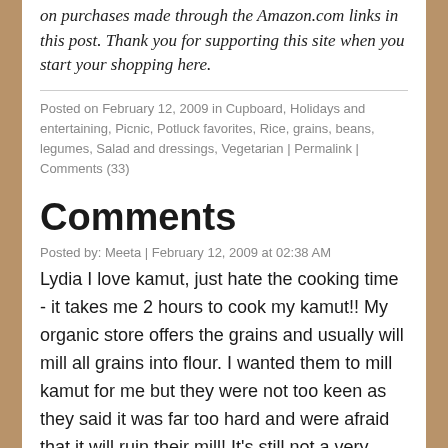on purchases made through the Amazon.com links in this post. Thank you for supporting this site when you start your shopping here.
Posted on February 12, 2009 in Cupboard, Holidays and entertaining, Picnic, Potluck favorites, Rice, grains, beans, legumes, Salad and dressings, Vegetarian | Permalink | Comments (33)
Comments
Posted by: Meeta | February 12, 2009 at 02:38 AM
Lydia I love kamut, just hate the cooking time - it takes me 2 hours to cook my kamut!! My organic store offers the grains and usually will mill all grains into flour. I wanted them to mill kamut for me but they were not too keen as they said it was far too hard and were afraid that it will ruin their mill! It's still not a very popular type of grain here in Germany probably because it takes so long to cook